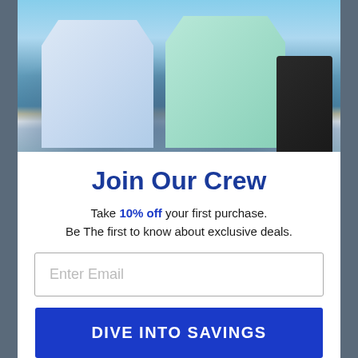[Figure (photo): Two people standing on a boat facing the ocean, wearing matching long-sleeve fishing shirts with marlin/sailfish graphics on the back. A boat motor is visible on the right side.]
Join Our Crew
Take 10% off your first purchase. Be The first to know about exclusive deals.
Enter Email
DIVE INTO SAVINGS
No thanks maybe next time